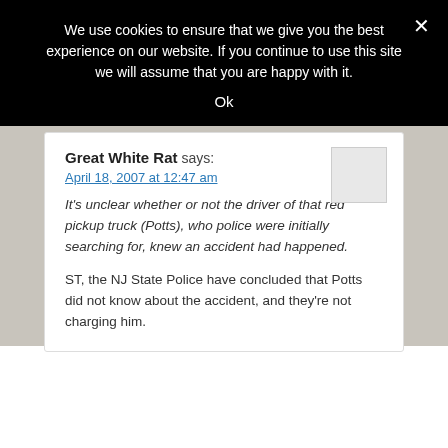We use cookies to ensure that we give you the best experience on our website. If you continue to use this site we will assume that you are happy with it.
Ok
Great White Rat says:
April 18, 2007 at 12:47 am
It's unclear whether or not the driver of that red pickup truck (Potts), who police were initially searching for, knew an accident had happened.
ST, the NJ State Police have concluded that Potts did not know about the accident, and they're not charging him.